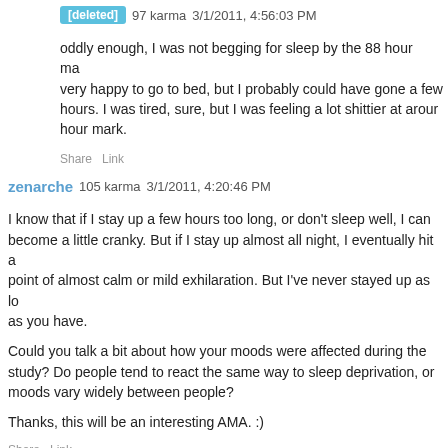[deleted]  97 karma  3/1/2011, 4:56:03 PM
oddly enough, I was not begging for sleep by the 88 hour mark. I was very happy to go to bed, but I probably could have gone a few more hours. I was tired, sure, but I was feeling a lot shittier at around the 60 hour mark.
Share Link
zenarche  105 karma  3/1/2011, 4:20:46 PM
I know that if I stay up a few hours too long, or don't sleep well, I can become a little cranky. But if I stay up almost all night, I eventually hit a point of almost calm or mild exhilaration. But I've never stayed up as long as you have.

Could you talk a bit about how your moods were affected during the study? Do people tend to react the same way to sleep deprivation, or do moods vary widely between people?

Thanks, this will be an interesting AMA. :)
Share Link
[deleted]  129 karma  3/1/2011, 4:41:55 PM
I had huge mood swings during the study. Like you mentioned, after a certain point your body just sort of "adjusts" and you actually feel